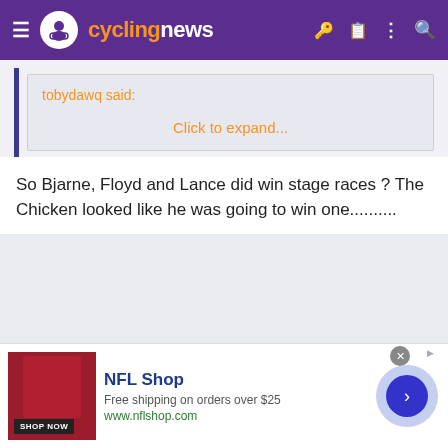cyclingnews
tobydawq said:
Click to expand...
So Bjarne, Floyd and Lance did win stage races ? The Chicken looked like he was going to win one..........
[Figure (screenshot): NFL Shop advertisement with red shorts image, SHOP NOW button, NFL Shop title, Free shipping on orders over $25, www.nflshop.com, and a blue arrow button]